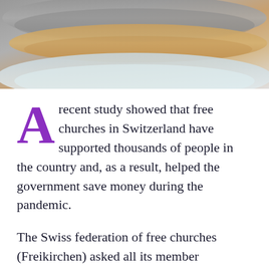[Figure (photo): Close-up photo showing folded textiles or blankets in grey and tan/beige colors, with a light blue curved surface visible at the bottom edge.]
A recent study showed that free churches in Switzerland have supported thousands of people in the country and, as a result, helped the government save money during the pandemic.
The Swiss federation of free churches (Freikirchen) asked all its member associations and more than a third of all church congregations about the activities they offered during the Coronavirus pandemic and